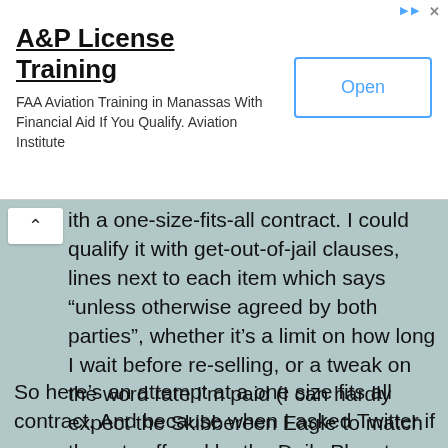[Figure (screenshot): Advertisement banner: A&P License Training - FAA Aviation Training in Manassas With Financial Aid If You Qualify. Aviation Institute. Open button.]
ith a one-size-fits-all contract. I could qualify it with get-out-of-jail clauses, lines next to each item which says “unless otherwise agreed by both parties”, whether it’s a limit on how long I wait before re-selling, or a tweak on the word rate I’m paid (I can hardly expect the Skibbereen Eagle to match the rats offered by the Daily Planet, after all).
So here’s an attempt at a one size fits all contract. And because when I asked Twitter if